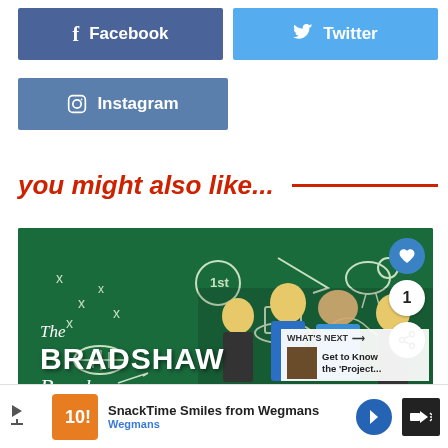[Figure (screenshot): Facebook social share button (blue)]
[Figure (screenshot): Twitter social share button (light blue)]
[Figure (screenshot): Instagram social share button (steel blue)]
you might also like...
[Figure (screenshot): Promotional image for 'The Bradshaw Bunch' TV show on a green chalkboard background with cast members and UI overlays including heart/like button, share count of 1, share button, and a 'What's Next' panel showing 'Get to Know the Project...']
[Figure (screenshot): Advertisement bar: SnackTime Smiles from Wegmans by Wegmans with logo and navigation arrow]